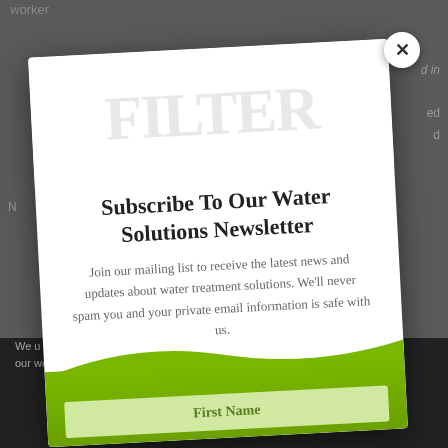[Figure (screenshot): Background webpage with gray overlay showing partial text content]
Subscribe To Our Water Solutions Newsletter
Join our mailing list to receive the latest news and updates about water treatment solutions. We'll never spam you and your private email information is safe with us.
First Name